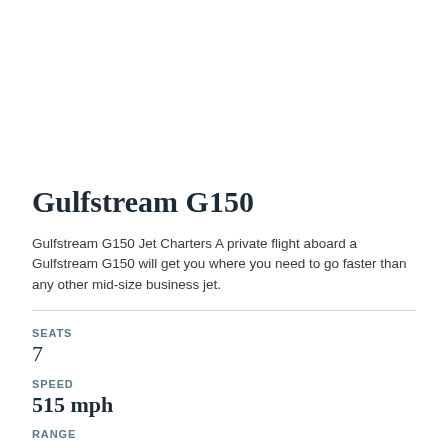Gulfstream G150
Gulfstream G150 Jet Charters A private flight aboard a Gulfstream G150 will get you where you need to go faster than any other mid-size business jet.
SEATS
7
SPEED
515 mph
RANGE